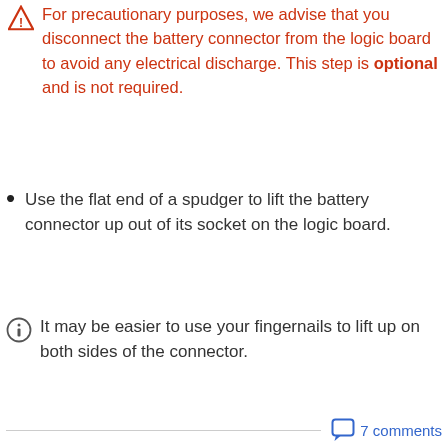For precautionary purposes, we advise that you disconnect the battery connector from the logic board to avoid any electrical discharge. This step is optional and is not required.
Use the flat end of a spudger to lift the battery connector up out of its socket on the logic board.
It may be easier to use your fingernails to lift up on both sides of the connector.
7 comments
Add a comment
you do not need to remove the battery when